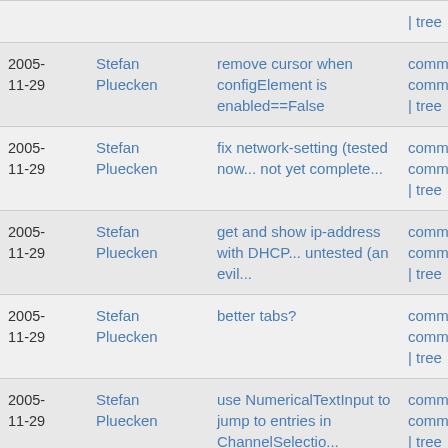| Date | Author | Message | Links |
| --- | --- | --- | --- |
|  |  |  | | tree |
| 2005-
11-29 | Stefan Pluecken | remove cursor when configElement is enabled==False | commit |
commitdiff
| tree |
| 2005-
11-29 | Stefan Pluecken | fix network-setting (tested now... not yet complete... | commit |
commitdiff
| tree |
| 2005-
11-29 | Stefan Pluecken | get and show ip-address with DHCP... untested (an evil... | commit |
commitdiff
| tree |
| 2005-
11-29 | Stefan Pluecken | better tabs? | commit |
commitdiff
| tree |
| 2005-
11-29 | Stefan Pluecken | use NumericalTextInput to jump to entries in ChannelSelectio... | commit |
commitdiff
| tree |
| 2005- | Stefan | fix timer (to be | commit | |